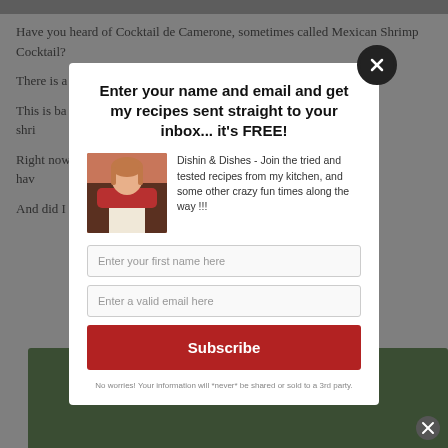Have you heard of Cocktail de Camerone, sometimes called Mexican Shrimp Cocktail?
There is a … work that serves so…
This is ba… it's not like a shri… old gazpacho…
Right now … s below 100°, I hav… ight of anything v…
And did I r…
Enter your name and email and get my recipes sent straight to your inbox... it's FREE!
[Figure (photo): Portrait photo of a woman in a kitchen wearing an apron]
Dishin & Dishes - Join the tried and tested recipes from my kitchen, and some other crazy fun times along the way !!!
Enter your first name here
Enter a valid email here
Subscribe
No worries! Your information will *never* be shared or sold to a 3rd party.